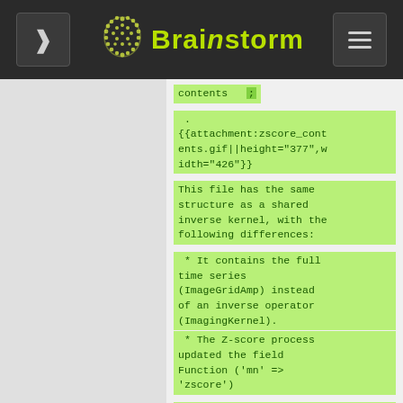Brainstorm
contents   ;
.
{{attachment:zscore_contents.gif||height="377",width="426"}}
This file has the same structure as a shared inverse kernel, with the following differences:
* It contains the full time series (ImageGridAmp) instead of an inverse operator (ImagingKernel).
* The Z-score process updated the field Function ('mn' => 'zscore')
==== Source links ====
* The links are not real files on the hard drive, if you select the